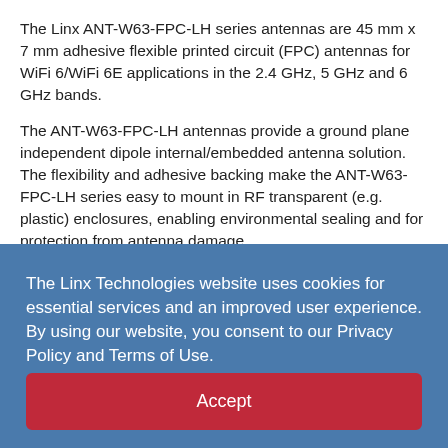The Linx ANT-W63-FPC-LH series antennas are 45 mm x 7 mm adhesive flexible printed circuit (FPC) antennas for WiFi 6/WiFi 6E applications in the 2.4 GHz, 5 GHz and 6 GHz bands.
The ANT-W63-FPC-LH antennas provide a ground plane independent dipole internal/embedded antenna solution. The flexibility and adhesive backing make the ANT-W63-FPC-LH series easy to mount in RF transparent (e.g. plastic) enclosures, enabling environmental sealing and for protection from antenna damage.
The Linx Technologies website uses cookies for essential services and an improved user experience. By using our website, you consent to our Privacy Policy and Terms of Use.
Accept